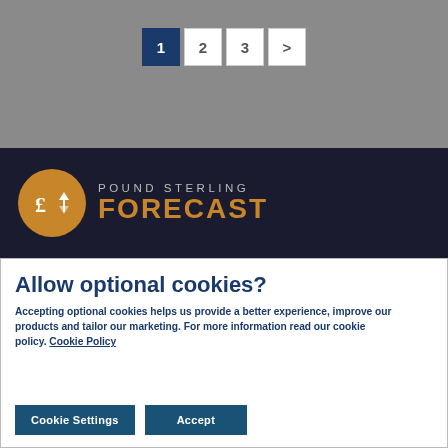1 2 3 >
[Figure (logo): Pound Sterling Forecast logo: orange circle with pound sign and arrows, followed by 'POUND STERLING FORECAST' text in dark background]
Allow optional cookies?
Accepting optional cookies helps us provide a better experience, improve our products and tailor our marketing. For more information read our cookie policy. Cookie Policy
Cookie Settings   Accept